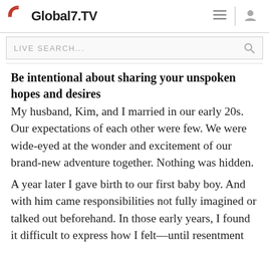Global7.TV
Be intentional about sharing your unspoken hopes and desires
My husband, Kim, and I married in our early 20s. Our expectations of each other were few. We were wide-eyed at the wonder and excitement of our brand-new adventure together. Nothing was hidden.
A year later I gave birth to our first baby boy. And with him came responsibilities not fully imagined or talked out beforehand. In those early years, I found it difficult to express how I felt—until resentment